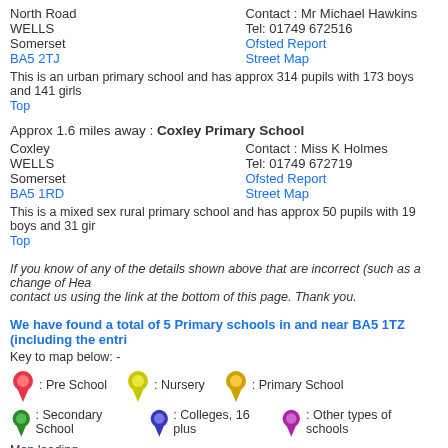North Road
WELLS
Somerset
BA5 2TJ
Contact : Mr Michael Hawkins
Tel: 01749 672516
Ofsted Report
Street Map
This is an urban primary school and has approx 314 pupils with 173 boys and 141 girls
Top
Approx 1.6 miles away : Coxley Primary School
Coxley
WELLS
Somerset
BA5 1RD
Contact : Miss K Holmes
Tel: 01749 672719
Ofsted Report
Street Map
This is a mixed sex rural primary school and has approx 50 pupils with 19 boys and 31 girls
Top
If you know of any of the details shown above that are incorrect (such as a change of Head) contact us using the link at the bottom of this page. Thank you.
We have found a total of 5 Primary schools in and near BA5 1TZ (including the entries above)
Key to map below: -
[Figure (infographic): Map key showing colored pin icons: red=Pre School, yellow=Nursery, orange=Primary School, green=Secondary School, blue=Colleges 16 plus, purple=Other types of schools]
Map loading